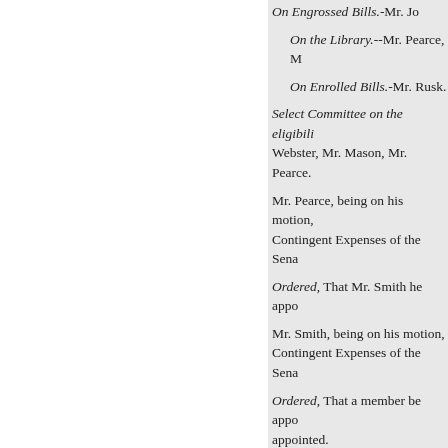On Engrossed Bills.-Mr. Jo
On the Library.--Mr. Pearce, M
On Enrolled Bills.-Mr. Rusk.
Select Committee on the eligibili Webster, Mr. Mason, Mr. Pearce.
Mr. Pearce, being on his motion, Contingent Expenses of the Sena
Ordered, That Mr. Smith he appo
Mr. Smith, being on his motion, Contingent Expenses of the Sena
Ordered, That a member be appo appointed.
On motion by Mr. Underwood and papers.
On motion,
The Senate-adjourned.
THURSDAY, MARCH 8, 184
Davis, of Mississippi, the 7th ins